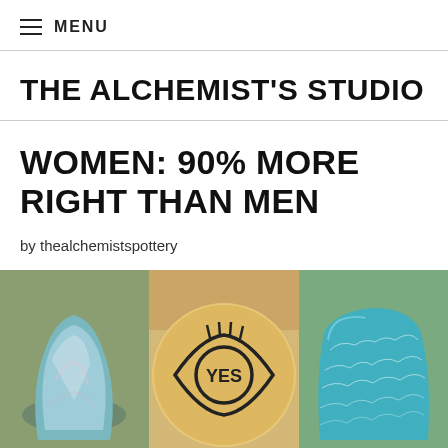MENU
THE ALCHEMIST'S STUDIO
WOMEN: 90% MORE RIGHT THAN MEN
by thealchemistspottery
[Figure (photo): Three-panel photo strip: left panel shows a small iridescent raku pottery vase with blue-green-pink glaze; center panel shows a round wooden disc/coin held in fingers with an eye symbol and 'YES' inscribed; right panel shows a teal/blue crackle-glazed raku pottery cup.]